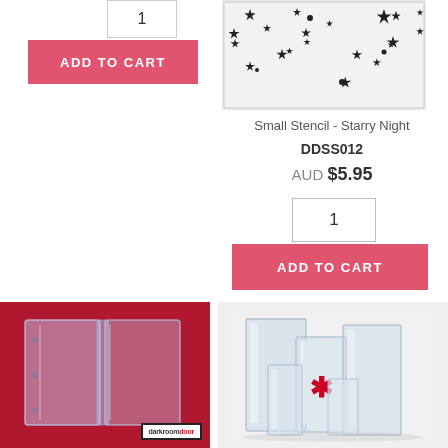[Figure (other): Quantity input box showing value 1, left column top]
[Figure (other): ADD TO CART button in coral/pink color, left column]
[Figure (photo): Small stencil with star pattern - Starry Night product image]
Small Stencil - Starry Night
DDSS012
AUD $5.95
[Figure (other): Quantity input box showing value 1, right column]
[Figure (other): ADD TO CART button in coral/pink color, right column]
[Figure (photo): Clear plastic case open on red background with Darkroom Door logo label]
[Figure (photo): Clear acrylic blocks of various sizes with red asterisk/star mark]